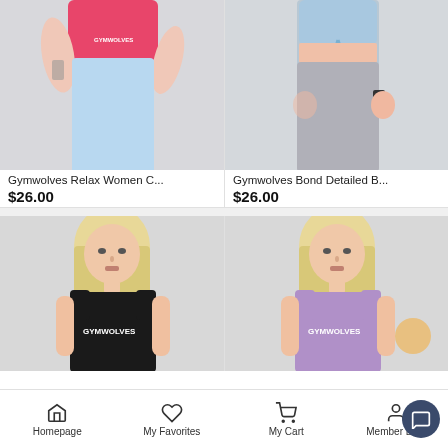[Figure (photo): Woman wearing pink crop top and light blue leggings, Gymwolves brand]
Gymwolves Relax Women C...
$26.00
[Figure (photo): Woman wearing light blue sports bra and grey leggings, Gymwolves brand]
Gymwolves Bond Detailed B...
$26.00
[Figure (photo): Blonde woman wearing black Gymwolves tank top]
[Figure (photo): Blonde woman wearing purple Gymwolves tank top]
Homepage   My Favorites   My Cart   Member Login